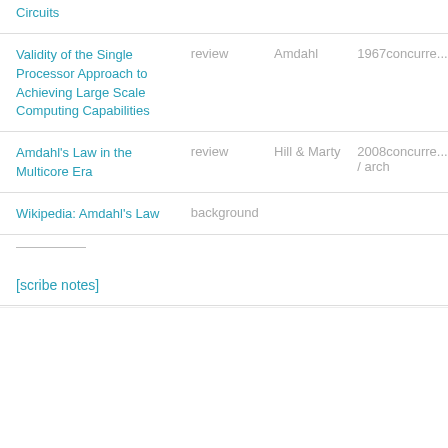| Title | Type | Author | Year/Topic |
| --- | --- | --- | --- |
| Circuits |  |  |  |
| Validity of the Single Processor Approach to Achieving Large Scale Computing Capabilities | review | Amdahl | 1967concurrent |
| Amdahl's Law in the Multicore Era | review | Hill & Marty | 2008concurrent / arch |
| Wikipedia: Amdahl's Law | background |  |  |
| [scribe notes] |  |  |  |